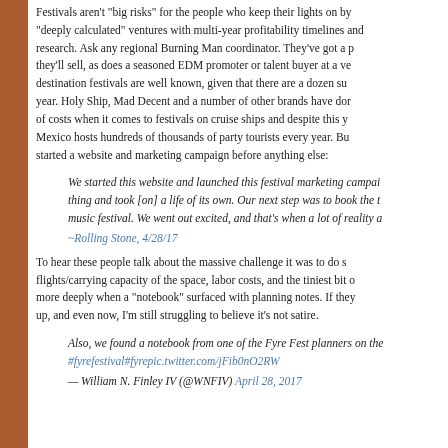Festivals aren't "big risks" for the people who keep their lights on by running them as "deeply calculated" ventures with multi-year profitability timelines and deep market research. Ask any regional Burning Man coordinator. They've got a plan for what they'll sell, as does a seasoned EDM promoter or talent buyer at a venue. The risks of destination festivals are well known, given that there are a dozen such events every year. Holy Ship, Mad Decent and a number of other brands have done the math on costs when it comes to festivals on cruise ships and despite this year's headaches, Mexico hosts hundreds of thousands of party tourists every year. But these guys started a website and marketing campaign before anything else:
We started this website and launched this festival marketing campaign before anything thing and took [on] a life of its own. Our next step was to book the talent to put on a music festival. We went out excited, and that's when a lot of reality came crashing in.
~Rolling Stone, 4/28/17
To hear these people talk about the massive challenge it was to do simple things like flights/carrying capacity of the space, labor costs, and the tiniest bit of recon — made more deeply when a "notebook" surfaced with planning notes. If they really messed up, and even now, I'm still struggling to believe it's not satire.
Also, we found a notebook from one of the Fyre Fest planners on the island. #fyrefestival#fyrepic.twitter.com/jFib0nO2RW
— William N. Finley IV (@WNFIV) April 28, 2017